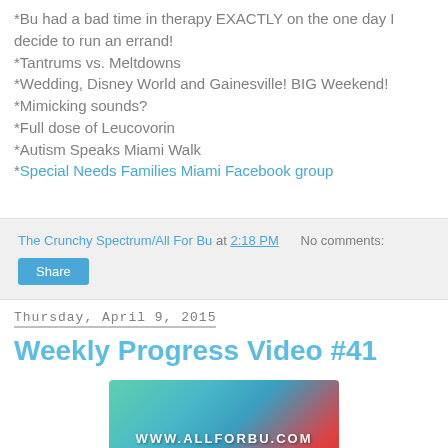*Bu had a bad time in therapy EXACTLY on the one day I decide to run an errand!
*Tantrums vs. Meltdowns
*Wedding, Disney World and Gainesville! BIG Weekend!
*Mimicking sounds?
*Full dose of Leucovorin
*Autism Speaks Miami Walk
*Special Needs Families Miami Facebook group
The Crunchy Spectrum/All For Bu at 2:18 PM   No comments:
Share
Thursday, April 9, 2015
Weekly Progress Video #41
[Figure (photo): Thumbnail image showing colorful puzzle pieces with watermark text www.allforbu.com]